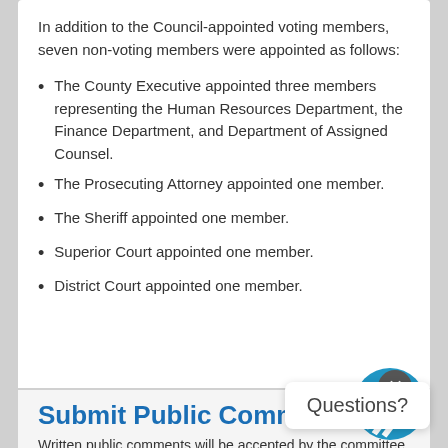In addition to the Council-appointed voting members, seven non-voting members were appointed as follows:
The County Executive appointed three members representing the Human Resources Department, the Finance Department, and Department of Assigned Counsel.
The Prosecuting Attorney appointed one member.
The Sheriff appointed one member.
Superior Court appointed one member.
District Court appointed one member.
Questions?
Submit Public Comment
Written public comments will be accepted by the committee. Email comments to:
ercommittee@piercecountywa.gov